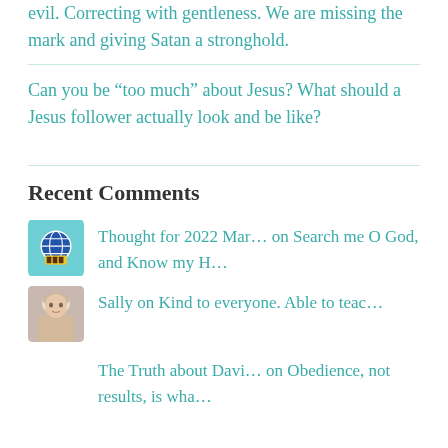evil. Correcting with gentleness. We are missing the mark and giving Satan a stronghold.
Can you be “too much” about Jesus? What should a Jesus follower actually look and be like?
Recent Comments
Thought for 2022 Mar… on Search me O God, and Know my H…
Sally on Kind to everyone. Able to teac…
The Truth about Davi… on Obedience, not results, is wha…